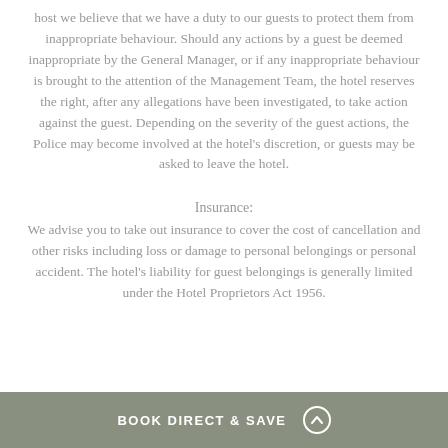host we believe that we have a duty to our guests to protect them from inappropriate behaviour. Should any actions by a guest be deemed inappropriate by the General Manager, or if any inappropriate behaviour is brought to the attention of the Management Team, the hotel reserves the right, after any allegations have been investigated, to take action against the guest. Depending on the severity of the guest actions, the Police may become involved at the hotel's discretion, or guests may be asked to leave the hotel.
Insurance:
We advise you to take out insurance to cover the cost of cancellation and other risks including loss or damage to personal belongings or personal accident. The hotel's liability for guest belongings is generally limited under the Hotel Proprietors Act 1956.
BOOK DIRECT & SAVE